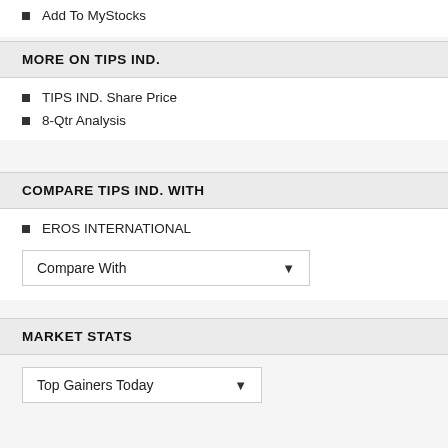Add To MyStocks
MORE ON TIPS IND.
TIPS IND. Share Price
8-Qtr Analysis
COMPARE TIPS IND. WITH
EROS INTERNATIONAL
Compare With
MARKET STATS
Top Gainers Today